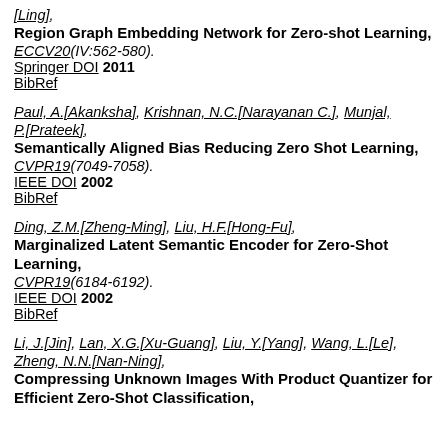[Ling],
Region Graph Embedding Network for Zero-shot Learning,
ECCV20(IV:562-580).
Springer DOI 2011
BibRef
Paul, A.[Akanksha], Krishnan, N.C.[Narayanan C.], Munjal, P.[Prateek],
Semantically Aligned Bias Reducing Zero Shot Learning,
CVPR19(7049-7058).
IEEE DOI 2002
BibRef
Ding, Z.M.[Zheng-Ming], Liu, H.F.[Hong-Fu],
Marginalized Latent Semantic Encoder for Zero-Shot Learning,
CVPR19(6184-6192).
IEEE DOI 2002
BibRef
Li, J.[Jin], Lan, X.G.[Xu-Guang], Liu, Y.[Yang], Wang, L.[Le], Zheng, N.N.[Nan-Ning],
Compressing Unknown Images With Product Quantizer for Efficient Zero-Shot Classification,